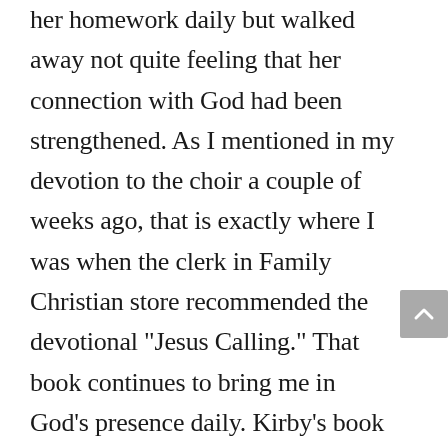her homework daily but walked away not quite feeling that her connection with God had been strengthened. As I mentioned in my devotion to the choir a couple of weeks ago, that is exactly where I was when the clerk in Family Christian store recommended the devotional "Jesus Calling." That book continues to bring me in God's presence daily. Kirby's book is giving me the practical how to's. As she writes, her book is intended to give you "the tools to help your quiet times be the best they can be." How thankful I am for God's perfect timing. Only He could